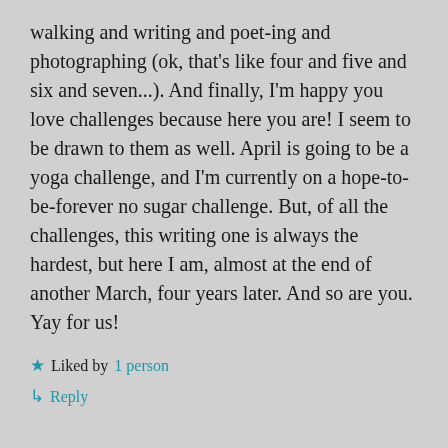walking and writing and poet-ing and photographing (ok, that's like four and five and six and seven...). And finally, I'm happy you love challenges because here you are! I seem to be drawn to them as well. April is going to be a yoga challenge, and I'm currently on a hope-to-be-forever no sugar challenge. But, of all the challenges, this writing one is always the hardest, but here I am, almost at the end of another March, four years later. And so are you. Yay for us!
★ Liked by 1 person
↳ Reply